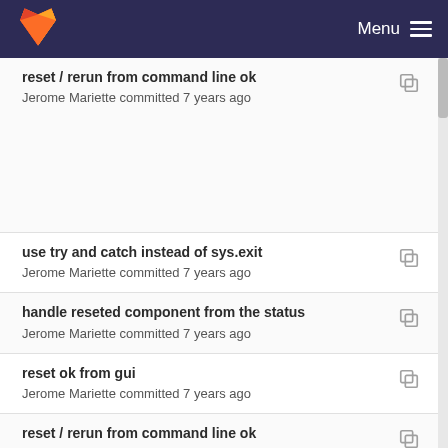GitLab Menu
reset / rerun from command line ok
Jerome Mariette committed 7 years ago
use try and catch instead of sys.exit
Jerome Mariette committed 7 years ago
handle reseted component from the status
Jerome Mariette committed 7 years ago
reset ok from gui
Jerome Mariette committed 7 years ago
reset / rerun from command line ok
Jerome Mariette committed 7 years ago
use a system of cache when retrieving workflows ...
Jerome Mariette committed 7 years ago